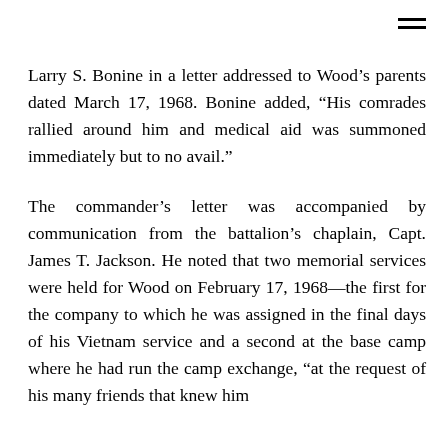Larry S. Bonine in a letter addressed to Wood's parents dated March 17, 1968. Bonine added, “His comrades rallied around him and medical aid was summoned immediately but to no avail.”
The commander’s letter was accompanied by communication from the battalion’s chaplain, Capt. James T. Jackson. He noted that two memorial services were held for Wood on February 17, 1968—the first for the company to which he was assigned in the final days of his Vietnam service and a second at the base camp where he had run the camp exchange, “at the request of his many friends that knew him